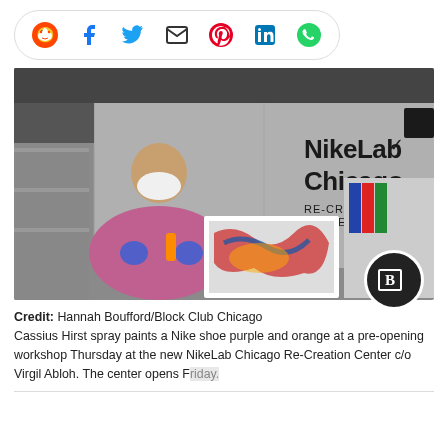[Figure (other): Social media share bar with icons: Reddit, Facebook, Twitter, Email, Pinterest, LinkedIn, WhatsApp]
[Figure (photo): Person wearing a pink hoodie and white face mask spray painting a Nike shoe at NikeLab Chicago Re-Creation Center c/o Virgil Abloh. Large silver panels in background with NikeLab Chicago branding.]
Credit: Hannah Boufford/Block Club Chicago
Cassius Hirst spray paints a Nike shoe purple and orange at a pre-opening workshop Thursday at the new NikeLab Chicago Re-Creation Center c/o Virgil Abloh. The center opens Friday.